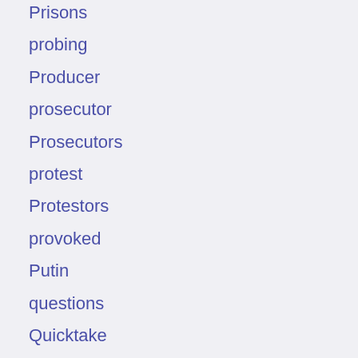Prisons
probing
Producer
prosecutor
Prosecutors
protest
Protestors
provoked
Putin
questions
Quicktake
raccoon
Rafael